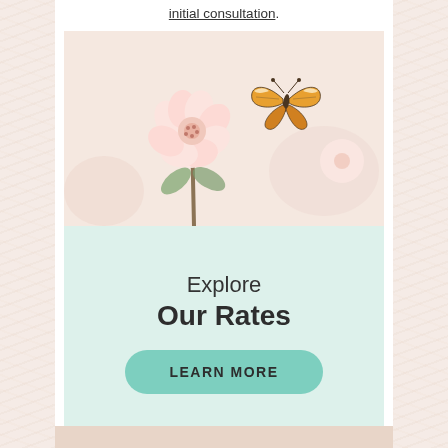initial consultation.
[Figure (photo): Photo of pink cherry blossoms with a monarch butterfly hovering above them, soft pastel tones]
Explore Our Rates
LEARN MORE